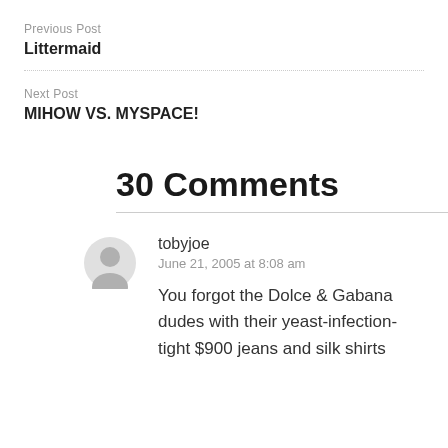Previous Post
Littermaid
Next Post
MIHOW VS. MYSPACE!
30 Comments
tobyjoe
June 21, 2005 at 8:08 am
You forgot the Dolce & Gabana dudes with their yeast-infection-tight $900 jeans and silk shirts